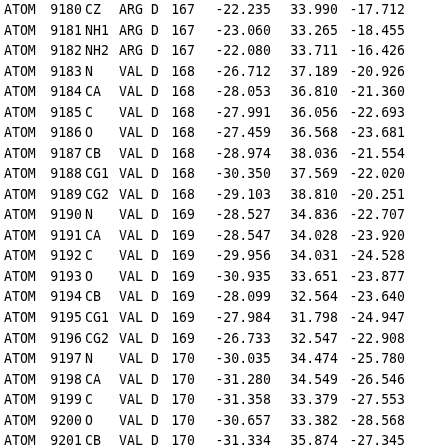| Record | Serial | Name | ResName | Chain | SeqNum | X | Y | Z |
| --- | --- | --- | --- | --- | --- | --- | --- | --- |
| ATOM | 9180 | CZ | ARG | D | 167 | -22.235 | 33.990 | -17.712 |
| ATOM | 9181 | NH1 | ARG | D | 167 | -23.060 | 33.265 | -18.455 |
| ATOM | 9182 | NH2 | ARG | D | 167 | -22.080 | 33.711 | -16.426 |
| ATOM | 9183 | N | VAL | D | 168 | -26.712 | 37.189 | -20.926 |
| ATOM | 9184 | CA | VAL | D | 168 | -28.053 | 36.810 | -21.360 |
| ATOM | 9185 | C | VAL | D | 168 | -27.991 | 36.056 | -22.693 |
| ATOM | 9186 | O | VAL | D | 168 | -27.459 | 36.568 | -23.681 |
| ATOM | 9187 | CB | VAL | D | 168 | -28.974 | 38.036 | -21.554 |
| ATOM | 9188 | CG1 | VAL | D | 168 | -30.350 | 37.569 | -22.020 |
| ATOM | 9189 | CG2 | VAL | D | 168 | -29.103 | 38.810 | -20.251 |
| ATOM | 9190 | N | VAL | D | 169 | -28.527 | 34.836 | -22.707 |
| ATOM | 9191 | CA | VAL | D | 169 | -28.547 | 34.028 | -23.920 |
| ATOM | 9192 | C | VAL | D | 169 | -29.956 | 34.031 | -24.528 |
| ATOM | 9193 | O | VAL | D | 169 | -30.935 | 33.651 | -23.877 |
| ATOM | 9194 | CB | VAL | D | 169 | -28.099 | 32.564 | -23.640 |
| ATOM | 9195 | CG1 | VAL | D | 169 | -27.984 | 31.798 | -24.947 |
| ATOM | 9196 | CG2 | VAL | D | 169 | -26.733 | 32.547 | -22.908 |
| ATOM | 9197 | N | VAL | D | 170 | -30.035 | 34.474 | -25.780 |
| ATOM | 9198 | CA | VAL | D | 170 | -31.280 | 34.549 | -26.546 |
| ATOM | 9199 | C | VAL | D | 170 | -31.358 | 33.379 | -27.553 |
| ATOM | 9200 | O | VAL | D | 170 | -30.657 | 33.382 | -28.568 |
| ATOM | 9201 | CB | VAL | D | 170 | -31.334 | 35.874 | -27.345 |
| ATOM | 9202 | CG1 | VAL | D | 170 | -32.630 | 35.976 | -28.114 |
| ATOM | 9203 | CG2 | VAL | D | 170 | -31.155 | 37.058 | -26.411 |
| ATOM | 9204 | N | ASN | D | 171 | -32.199 | 32.383 | -27.285 |
| ATOM | 9205 | CA | ASN | D | 171 | -32.315 | 31.262 | -28.213 |
| ATOM | 9206 | C | ASN | D | 171 | -33.687 | 31.159 | -28.860 |
| ATOM | 9207 | O | ASN | D | 171 | -34.720 | 31.408 | -28.226 |
| ATOM | 9208 | CB | ASN | D | 171 | -31.997 | 29.927 | -27.524 |
| ATOM | 9209 | CG | ASN | D | 171 | -30.558 | 29.838 | -27.039 |